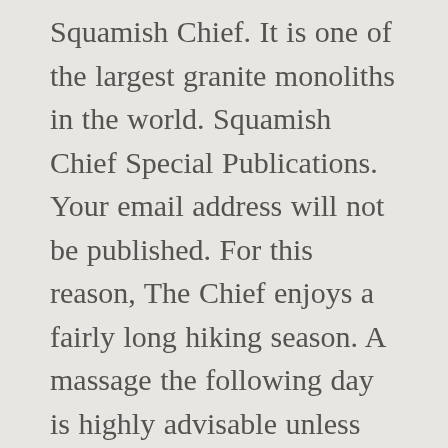Squamish Chief. It is one of the largest granite monoliths in the world. Squamish Chief Special Publications. Your email address will not be published. For this reason, The Chief enjoys a fairly long hiking season. A massage the following day is highly advisable unless you are in tip top shape. Watch your step. Hikers should be prepared with sturdy footwear, clothing, food and water. Unbelievable views all around the mountains and the ocean of Squamish. Always carry The Essentials and fill out a trip plan. Obey posted closures of climbing routes on the Chief during the critical nesting season of the peregrine falcon. Your email address will not